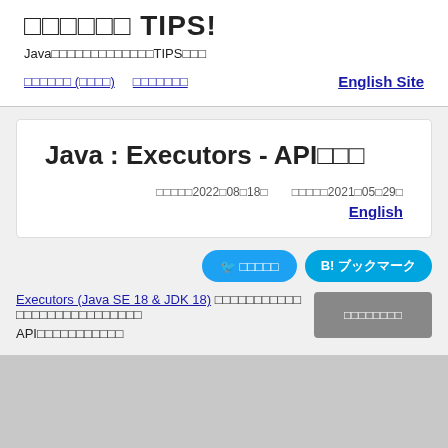□□□□□□ TIPS!
Java□□□□□□□□□□□□□TIPS□□□
□□□□□□ (□□□□)  □□□□□□□  English Site
Java : Executors - API□□□
□□□□□2022□08□18□   □□□□□2021□05□29□
English
□ □□□□□  B! ブックマーク
Executors (Java SE 18 & JDK 18) □□□□□□□□□□□ □□□□□□□□□□□□□□□□
API□□□□□□□□□□□